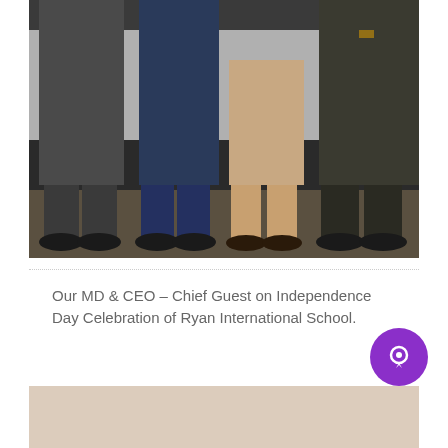[Figure (photo): Photo showing lower bodies and legs of four people standing on a stage in formal attire (suits and dress pants), with a backdrop visible behind them. Partial text 'NHS' visible on backdrop.]
Our MD & CEO – Chief Guest on Independence Day Celebration of Ryan International School.
[Figure (photo): Partial photo visible at bottom of page, appears to show a light-colored scene, content cut off.]